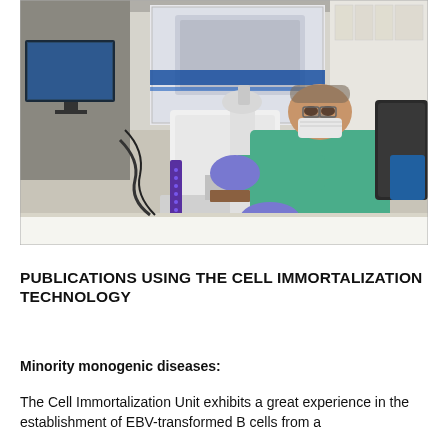[Figure (photo): A scientist wearing a green lab coat, blue gloves, and a face mask looks through a Primovert microscope in a laboratory setting. A computer monitor is visible on the left and laboratory equipment including storage racks are visible in the background.]
PUBLICATIONS USING THE CELL IMMORTALIZATION TECHNOLOGY
Minority monogenic diseases:
The Cell Immortalization Unit exhibits a great experience in the establishment of EBV-transformed B cells from a